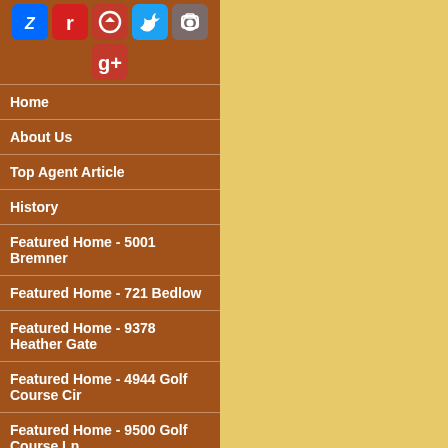[Figure (other): Social media icon buttons: Zillow, Realtor, red icon, Twitter, camera/Instagram, Google+]
Home
About Us
Top Agent Article
History
Featured Home - 5001 Bremner
Featured Home - 721 Bedlow
Featured Home - 9378 Heather Gate
Featured Home - 4944 Golf Course Cir
Featured Home - 9500 Golf Course Ln
Featured Home - One Hawthorne
Featured Home - 4033 Heather Hill
Featured Home - 10360 Via Cinta
Featured Home - 4813 Jela Way
Homes $350K or less